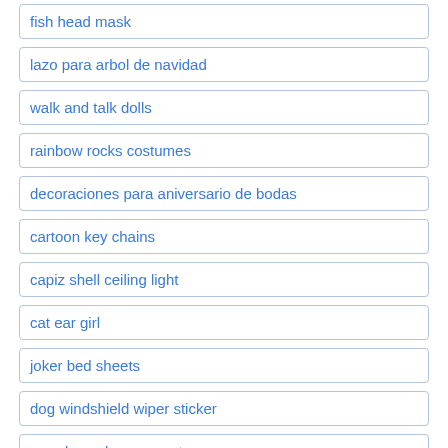fish head mask
lazo para arbol de navidad
walk and talk dolls
rainbow rocks costumes
decoraciones para aniversario de bodas
cartoon key chains
capiz shell ceiling light
cat ear girl
joker bed sheets
dog windshield wiper sticker
sexy long sleeve crop top
fa5 rear diffuser